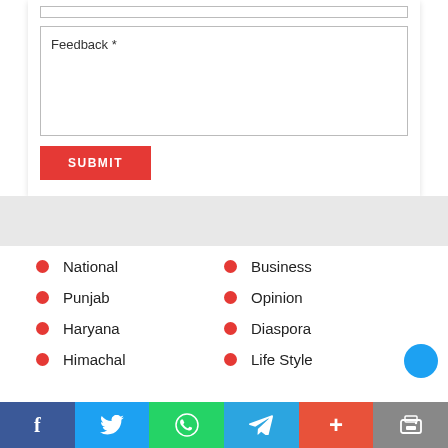[Figure (screenshot): Feedback form with text area labeled 'Feedback *' and a red SUBMIT button]
National
Punjab
Haryana
Himachal
Business
Opinion
Diaspora
Life Style
[Figure (screenshot): Social share bar with Facebook, Twitter, WhatsApp, Telegram, Plus, and Print icons]